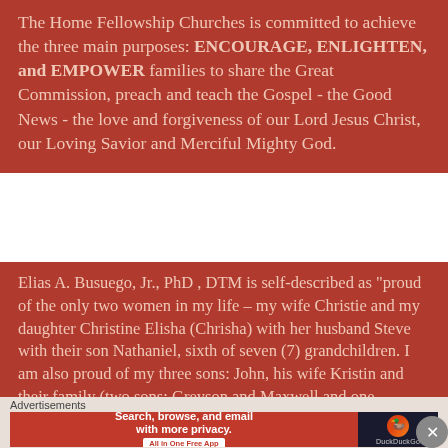The Home Fellowship Churches is committed to achieve the three main purposes: ENCOURAGE, ENLIGHTEN, and EMPOWER families to share the Great Commission, preach and teach the Gospel - the Good News - the love and forgiveness of our Lord Jesus Christ, our Loving Savior and Merciful Mighty God.
Elias A. Busuego, Jr., PhD , DTM is self-described as "proud of the only two women in my life – my wife Christie and my daughter Christine Elisha (Chrisha) with her husband Steve with their son Nathaniel, sixth of seven (7) grandchildren. I am also proud of my three sons: John, his wife Kristin and their family (two sons; Greyson and Maxwell and one daughter; Harper), Christopher with his wife Taylor and their daughter Zara Rose
Advertisements
[Figure (infographic): DuckDuckGo advertisement banner: orange/red left panel with text 'Search, browse, and email with more privacy. All in One Free App' and dark right panel with DuckDuckGo logo and name.]